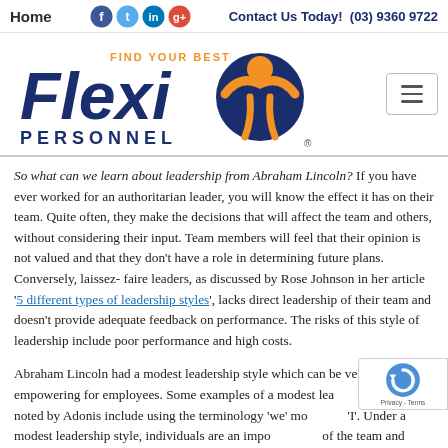Home   Contact Us Today!  (03) 9360 9722
[Figure (logo): Flexi Personnel logo - Find Your Best - with orange and blue colors and a stylized figure]
So what can we learn about leadership from Abraham Lincoln? If you have ever worked for an authoritarian leader, you will know the effect it has on their team. Quite often, they make the decisions that will affect the team and others, without considering their input. Team members will feel that their opinion is not valued and that they don't have a role in determining future plans.  Conversely, laissez-faire leaders, as discussed by Rose Johnson in her article '5 different types of leadership styles', lacks direct leadership of their team and doesn't provide adequate feedback on performance. The risks of this style of leadership include poor performance and high costs.
Abraham Lincoln had a modest leadership style which can be very empowering for employees. Some examples of a modest leadership style noted by Adonis include using the terminology 'we' more than 'I'. Under a modest leadership style, individuals are an important part of the team and always receive credit for success. Modest leaders